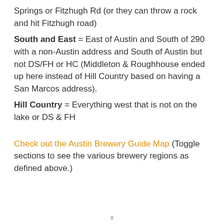Springs or Fitzhugh Rd (or they can throw a rock and hit Fitzhugh road)
South and East = East of Austin and South of 290 with a non-Austin address and South of Austin but not DS/FH or HC (Middleton & Roughhouse ended up here instead of Hill Country based on having a San Marcos address).
Hill Country = Everything west that is not on the lake or DS & FH
Check out the Austin Brewery Guide Map (Toggle sections to see the various brewery regions as defined above.)
x